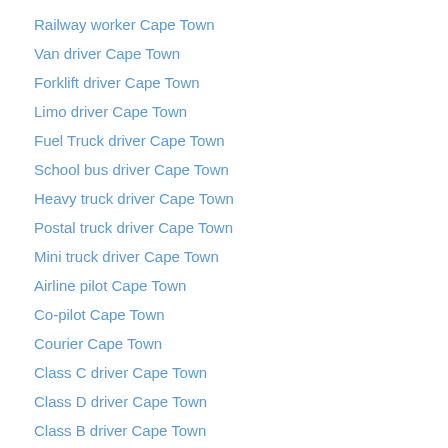Railway worker Cape Town
Van driver Cape Town
Forklift driver Cape Town
Limo driver Cape Town
Fuel Truck driver Cape Town
School bus driver Cape Town
Heavy truck driver Cape Town
Postal truck driver Cape Town
Mini truck driver Cape Town
Airline pilot Cape Town
Co-pilot Cape Town
Courier Cape Town
Class C driver Cape Town
Class D driver Cape Town
Class B driver Cape Town